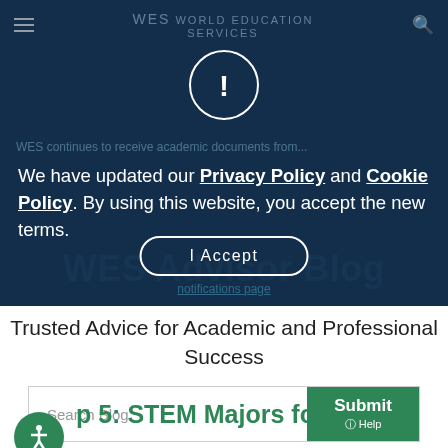[Figure (screenshot): WES (World Education Services) website header with dark blue background, hamburger menu icon, WES logo text, and search icon]
[Figure (other): Circular alert/warning icon with exclamation mark, white border on dark blue background]
WES continues to receive academic documents from... notifications page
We have updated our Privacy Policy and Cookie Policy. By using this website, you accept the new terms.
I Accept
WES Advisor Blog
Trusted Advice for Academic and Professional Success
[Figure (screenshot): Search bar with placeholder text 'Search Blog' and green Submit button with Help text]
Top 5: STEM Majors for